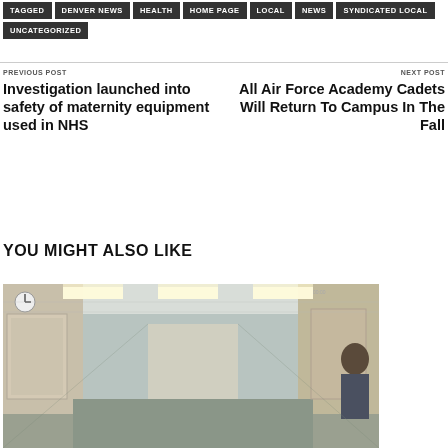TAGGED  DENVER NEWS  HEALTH  HOME PAGE  LOCAL  NEWS  SYNDICATED LOCAL  UNCATEGORIZED
PREVIOUS POST
Investigation launched into safety of maternity equipment used in NHS
NEXT POST
All Air Force Academy Cadets Will Return To Campus In The Fall
YOU MIGHT ALSO LIKE
[Figure (photo): Interior hallway of a hospital corridor with ceiling lights, beige/cream walls, doors visible, and a person partially visible at the far right edge.]